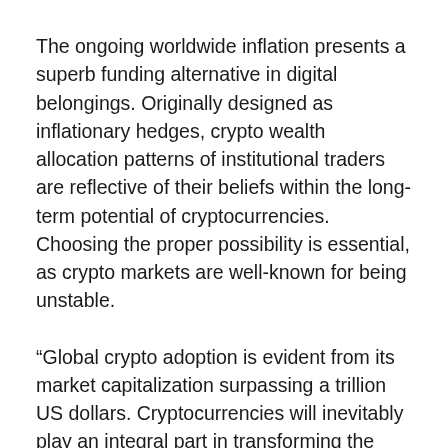The ongoing worldwide inflation presents a superb funding alternative in digital belongings. Originally designed as inflationary hedges, crypto wealth allocation patterns of institutional traders are reflective of their beliefs within the long-term potential of cryptocurrencies. Choosing the proper possibility is essential, as crypto markets are well-known for being unstable.
“Global crypto adoption is evident from its market capitalization surpassing a trillion US dollars. Cryptocurrencies will inevitably play an integral part in transforming the future financial system. Stalling its growth will simply be a deterrent to progress,” concluded Chowdhury, who had beforehand defined that inflation would show to be the ultimate test for